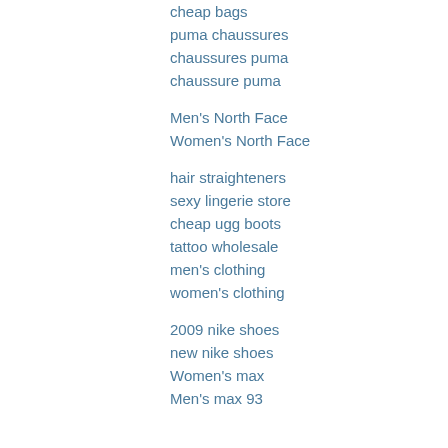cheap bags
puma chaussures
chaussures puma
chaussure puma
Men's North Face
Women's North Face
hair straighteners
sexy lingerie store
cheap ugg boots
tattoo wholesale
men's clothing
women's clothing
2009 nike shoes
new nike shoes
Women's max
Men's max 93